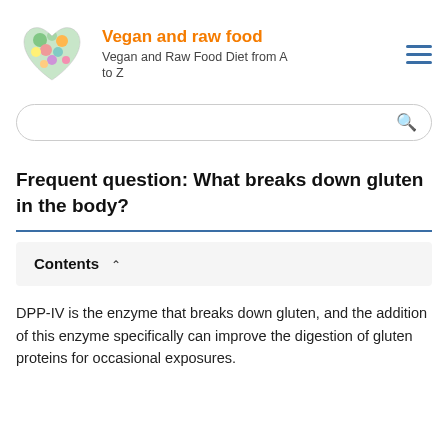Vegan and raw food — Vegan and Raw Food Diet from A to Z
Frequent question: What breaks down gluten in the body?
Contents
DPP-IV is the enzyme that breaks down gluten, and the addition of this enzyme specifically can improve the digestion of gluten proteins for occasional exposures.